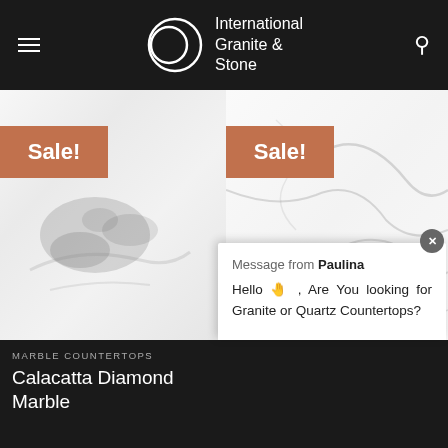International Granite & Stone
[Figure (photo): Left: marble countertop slab with grey veining on white background, Sale! badge. Right: white quartz countertop slab with fine grey veining, Sale! badge.]
MARBLE COUNTERTOPS
Calacatta Diamond Marble
Message from Paulina
Hello 👋, Are You looking for Granite or Quartz Countertops?
Get Pricing
Get Pricing